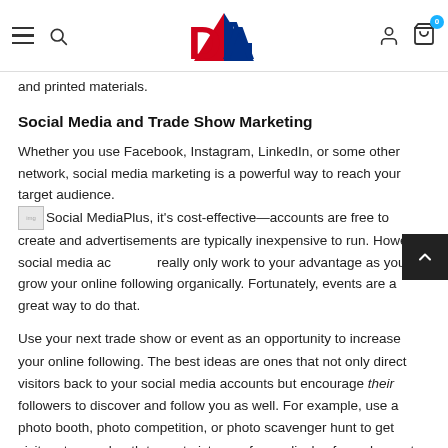DA logo navigation bar with hamburger menu, search, logo, user icon, cart (0)
and printed materials.
Social Media and Trade Show Marketing
Whether you use Facebook, Instagram, LinkedIn, or some other network, social media marketing is a powerful way to reach your target audience.
Plus, it's cost-effective—accounts are free to create and advertisements are typically inexpensive to run. However, social media accounts really only work to your advantage as you grow your online following organically. Fortunately, events are a great way to do that.
Use your next trade show or event as an opportunity to increase your online following. The best ideas are ones that not only direct visitors back to your social media accounts but encourage their followers to discover and follow you as well. For example, use a photo booth, photo competition, or photo scavenger hunt to get visitors to your booth to post pictures of your display for a chance to win a prize. Remind them to tag your company profile or use your company's hashtag